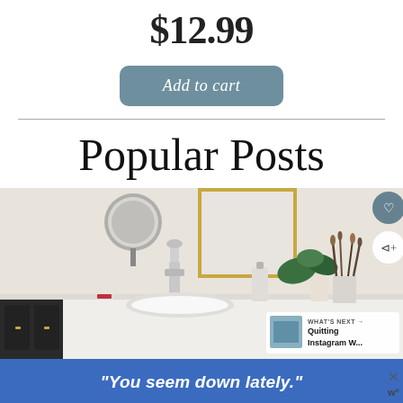$12.99
Add to cart
Popular Posts
[Figure (photo): Bathroom countertop with chrome faucet, plant, makeup brushes in a holder, decorative gold-framed mirror, and silver round mirror. Social media overlay with heart button, share button, and 'WHAT'S NEXT' card showing 'Quitting Instagram W...']
"You seem down lately."